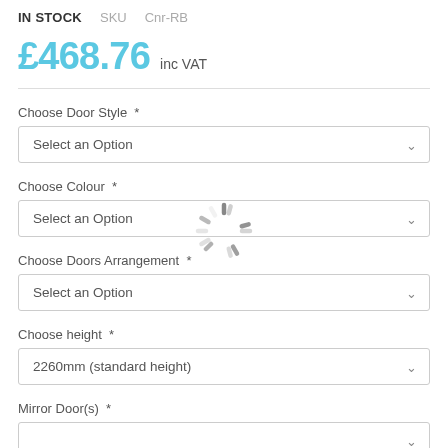IN STOCK   SKU  Cnr-RB
£468.76 inc VAT
Choose Door Style *
Select an Option
Choose Colour *
Select an Option
[Figure (other): Loading spinner overlay]
Choose Doors Arrangement *
Select an Option
Choose height *
2260mm (standard height)
Mirror Door(s) *